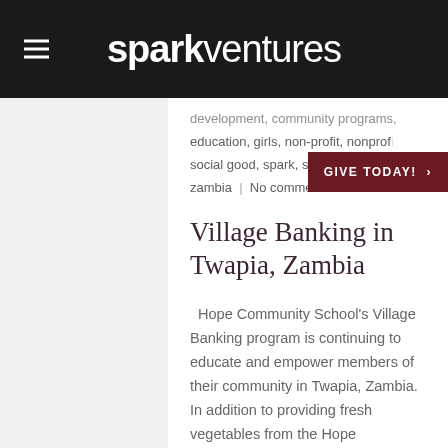sparkventures
development, community programs, education, girls, non-profit, nonprofit, social good, spark, sparkventures, zambia | No comment
Village Banking in Twapia, Zambia
Hope Community School's Village Banking program is continuing to educate and empower members of their community in Twapia, Zambia. In addition to providing fresh vegetables from the Hope Community School Farm for participants to sell, this impactful program teaches aspiring entrepreneurs how to attain financial...